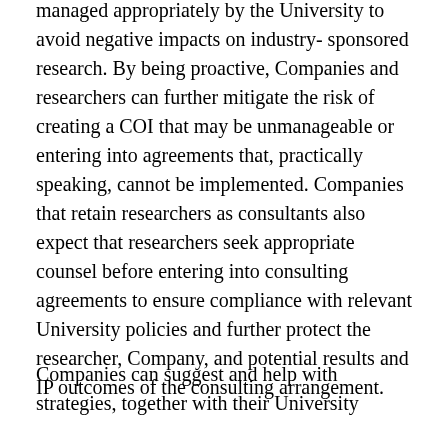managed appropriately by the University to avoid negative impacts on industry-sponsored research. By being proactive, Companies and researchers can further mitigate the risk of creating a COI that may be unmanageable or entering into agreements that, practically speaking, cannot be implemented. Companies that retain researchers as consultants also expect that researchers seek appropriate counsel before entering into consulting agreements to ensure compliance with relevant University policies and further protect the researcher, Company, and potential results and IP outcomes of the consulting arrangement.
Companies can suggest and help with strategies, together with their University